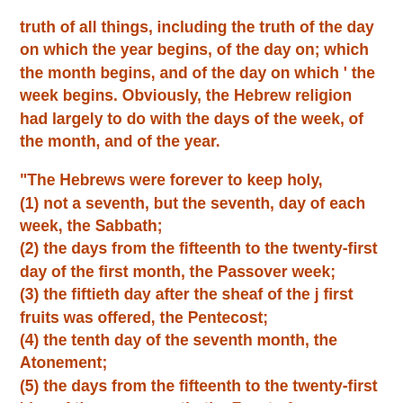truth of all things, including the truth of the day on which the year begins, of the day on; which the month begins, and of the day on which ‘ the week begins. Obviously, the Hebrew religion had largely to do with the days of the week, of the month, and of the year.
“The Hebrews were forever to keep holy,
(1) not a seventh, but the seventh, day of each week, the Sabbath;
(2) the days from the fifteenth to the twenty-first day of the first month, the Passover week;
(3) the fiftieth day after the sheaf of the j first fruits was offered, the Pentecost;
(4) the tenth day of the seventh month, the Atonement;
(5) the days from the fifteenth to the twenty-first ‘day of the same month, the Feast of Tabernacles; and (6)